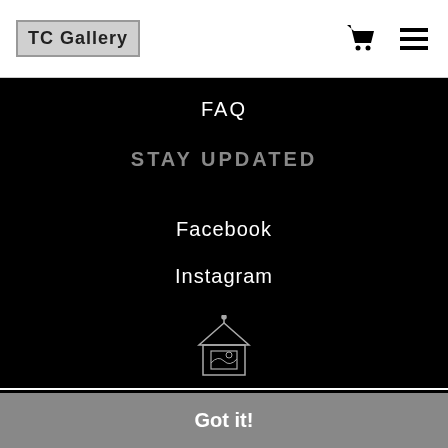TC Gallery
FAQ
STAY UPDATED
Facebook
Instagram
[Figure (illustration): Art Storefronts logo icon — a small building/gallery outline with a picture frame inside and a roof with decorative top]
PROUD MEMBER OF ART STOREFRONTS
This website uses cookies to ensure you get the best experience on our website.
Got it!